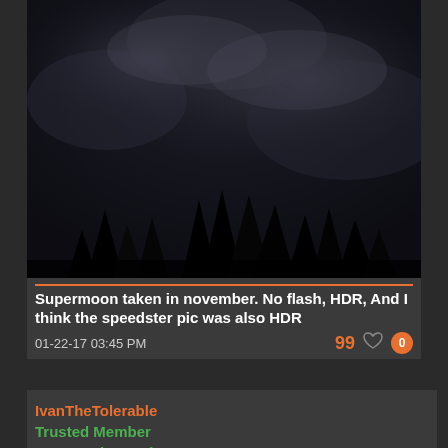[Figure (photo): Dark night sky photograph showing silhouettes of trees at the bottom, dark cloudy sky, very low light supermoon photo]
Supermoon taken in november. No flash, HDR, And I think the speedster pic was also HDR
01-22-17 03:45 PM
IvanTheTolerable
Trusted Member
Community Review Team
[Figure (photo): Partial view of an old map with orange/tan coloring showing geographic features]